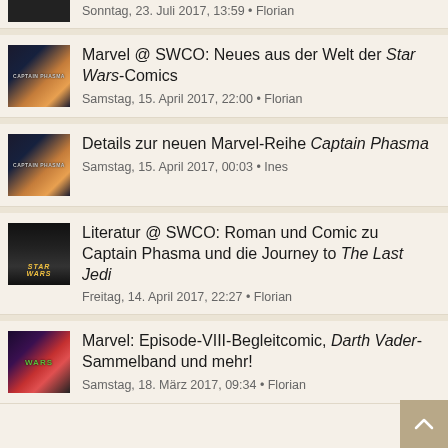Sonntag, 23. Juli 2017, 13:59 • Florian
Marvel @ SWCO: Neues aus der Welt der Star Wars-Comics
Samstag, 15. April 2017, 22:00 • Florian
Details zur neuen Marvel-Reihe Captain Phasma
Samstag, 15. April 2017, 00:03 • Ines
Literatur @ SWCO: Roman und Comic zu Captain Phasma und die Journey to The Last Jedi
Freitag, 14. April 2017, 22:27 • Florian
Marvel: Episode-VIII-Begleitcomic, Darth Vader-Sammelband und mehr!
Samstag, 18. März 2017, 09:34 • Florian